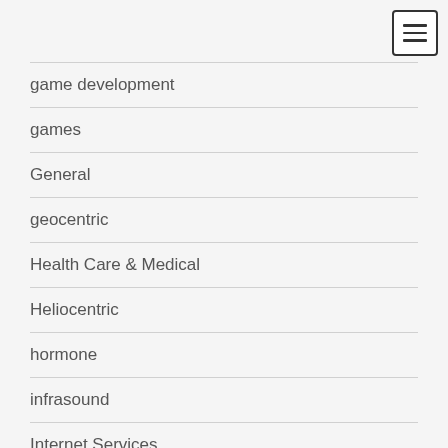game development
games
General
geocentric
Health Care & Medical
Heliocentric
hormone
infrasound
Internet Services
invertibrates